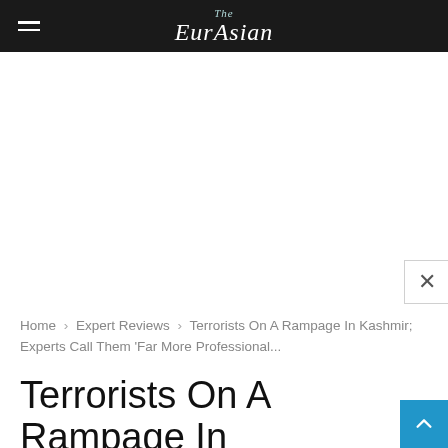The EurAsian
Home › Expert Reviews › Terrorists On A Rampage In Kashmir; Experts Call Them 'Far More Professional...
Terrorists On A Rampage In Kashmir; Experts Call Them